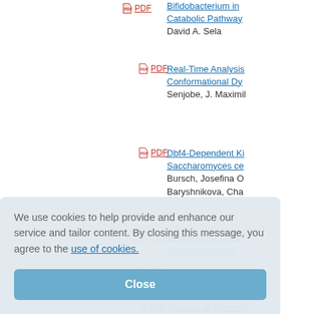PDF  Bifidobacterium in... Catabolic Pathway...
David A. Sela
PDF  Real-Time Analysis Conformational Dy...
Senjobe, J. Maximil...
PDF  Dbf4-Dependent Ki... Saccharomyces ce...
Bursch, Josefina O
Baryshnikova, Cha...
PDF  Single-cell profiling bacterial control [...
PDF  Single-cell profiling bacterial control [...
Link  Analysis of Recomb... and High-Resolutio...
We use cookies to help provide and enhance our service and tailor content. By closing this message, you agree to the use of cookies.